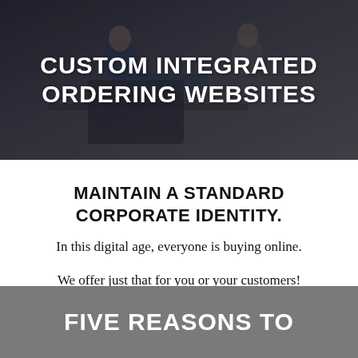[Figure (photo): Photo of two people working at a laptop in a business/office setting, with bold white text overlay reading CUSTOM INTEGRATED ORDERING WEBSITES]
CUSTOM INTEGRATED ORDERING WEBSITES
MAINTAIN A STANDARD CORPORATE IDENTITY.
In this digital age, everyone is buying online.
We offer just that for you or your customers!
Continue reading →
FIVE REASONS TO